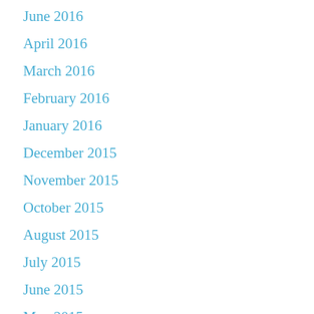June 2016
April 2016
March 2016
February 2016
January 2016
December 2015
November 2015
October 2015
August 2015
July 2015
June 2015
May 2015
April 2015